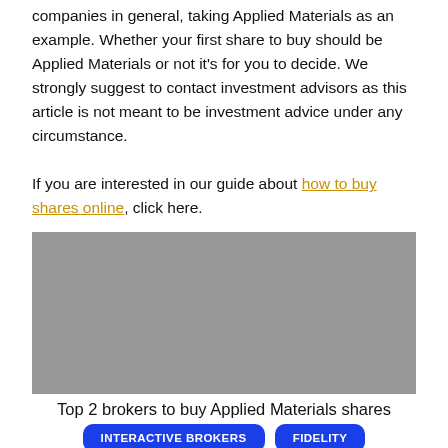companies in general, taking Applied Materials as an example. Whether your first share to buy should be Applied Materials or not it's for you to decide. We strongly suggest to contact investment advisors as this article is not meant to be investment advice under any circumstance.

If you are interested in our guide about how to buy shares online, click here.
[Figure (other): Gray placeholder image block]
Top 2 brokers to buy Applied Materials shares
INTERACTIVE BROKERS   FIDELITY